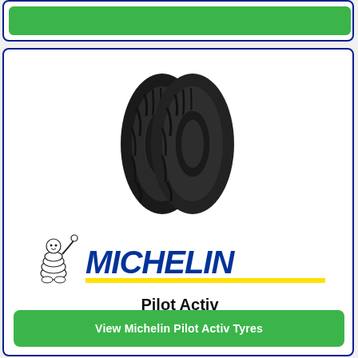[Figure (photo): Two Michelin Pilot Activ motorcycle tyres shown side by side]
[Figure (logo): Michelin logo with Bibendum mascot and yellow underline]
Pilot Activ
View Michelin Pilot Activ Tyres